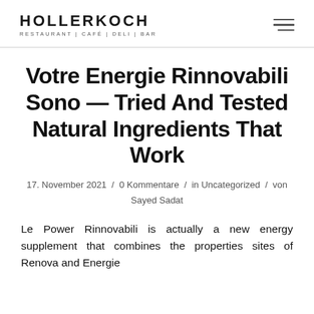HOLLERKOCH | RESTAURANT | CAFÉ | DELI | BAR
Votre Energie Rinnovabili Sono — Tried And Tested Natural Ingredients That Work
17. November 2021 / 0 Kommentare / in Uncategorized / von Sayed Sadat
Le Power Rinnovabili is actually a new energy supplement that combines the properties sites of Renova and Energie